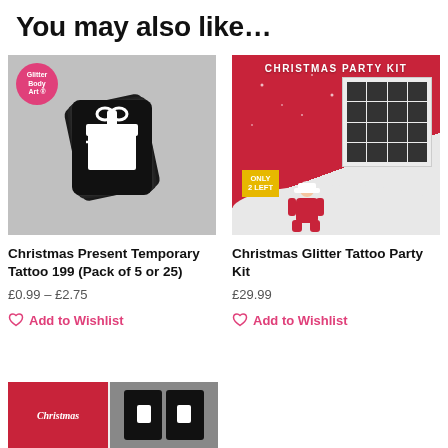You may also like…
[Figure (photo): Christmas Present Temporary Tattoo stencil pack product image on grey background with pink Glitter Body Art badge]
Christmas Present Temporary Tattoo 199 (Pack of 5 or 25)
£0.99 – £2.75
Add to Wishlist
[Figure (photo): Christmas Glitter Tattoo Party Kit product image on red Christmas background with Only 2 Left badge and Santa figure]
Christmas Glitter Tattoo Party Kit
£29.99
Add to Wishlist
[Figure (photo): Partial product image of another Christmas tattoo product at bottom of page]